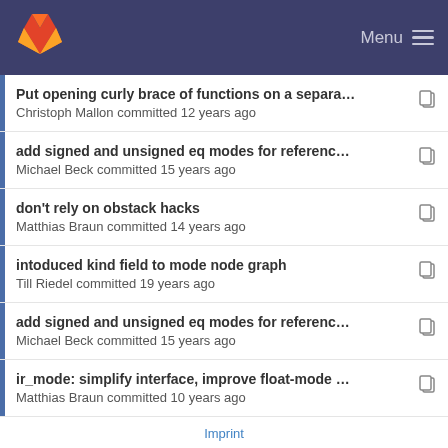GitLab — Menu
Put opening curly brace of functions on a separat... — Christoph Mallon committed 12 years ago
add signed and unsigned eq modes for reference ... — Michael Beck committed 15 years ago
don't rely on obstack hacks — Matthias Braun committed 14 years ago
intoduced kind field to mode node graph — Till Riedel committed 19 years ago
add signed and unsigned eq modes for reference ... — Michael Beck committed 15 years ago
ir_mode: simplify interface, improve float-mode ha... — Matthias Braun committed 10 years ago
Imprint